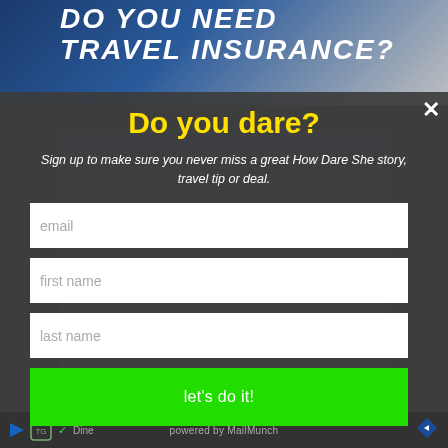[Figure (screenshot): Background image with travel insurance advertisement text 'DO YOU NEED TRAVEL INSURANCE?' in bold white italic uppercase text on a blue winter/skiing scene background]
Do you dare?
Sign up to make sure you never miss a great How Dare She story, travel tip or deal.
email
first name
last name
let's do it!
powered by MailMunch